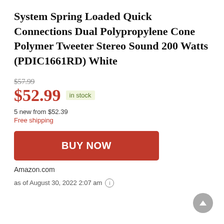System Spring Loaded Quick Connections Dual Polypropylene Cone Polymer Tweeter Stereo Sound 200 Watts (PDIC1661RD) White
$57.99
$52.99 in stock
5 new from $52.39
Free shipping
BUY NOW
Amazon.com
as of August 30, 2022 2:07 am